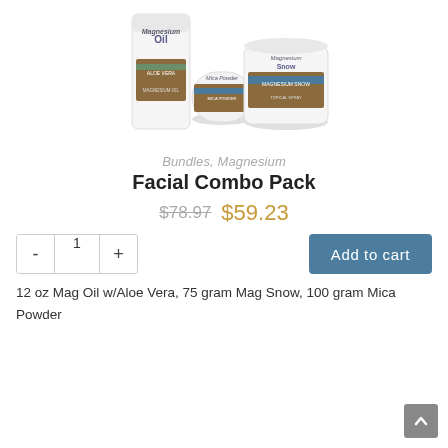[Figure (photo): Three magnesium product bottles: Magnesium Oil with Aloe Vera (tall bottle), Mica Powder (small jar), and Magnesium Snow (wide jar), arranged together on white background]
Bundles, Magnesium
Facial Combo Pack
$78.97  $59.23
- 1 +  Add to cart
12 oz Mag Oil w/Aloe Vera, 75 gram Mag Snow, 100 gram Mica Powder